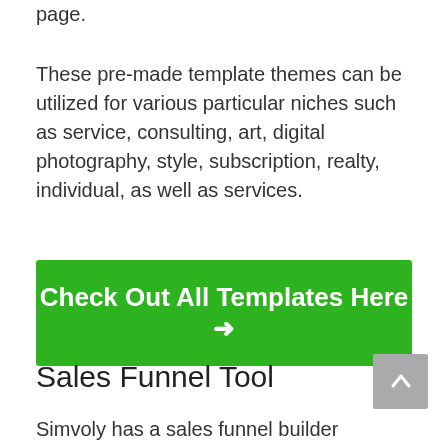page.
These pre-made template themes can be utilized for various particular niches such as service, consulting, art, digital photography, style, subscription, realty, individual, as well as services.
Check Out All Templates Here →
Sales Funnel Tool
Simvoly has a sales funnel builder function